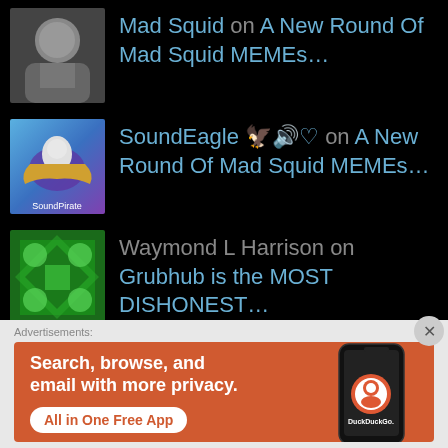Mad Squid on A New Round Of Mad Squid MEMEs…
SoundEagle 🦅ᴥ♡ on A New Round Of Mad Squid MEMEs…
Waymond L Harrison on Grubhub is the MOST DISHONEST…
SoundEagle 🦅ᴥ♡ on 5K Christmas! Blue Lights Disp…
Advertisements:
[Figure (screenshot): DuckDuckGo advertisement banner: orange background with white bold text 'Search, browse, and email with more privacy.' and button 'All in One Free App', alongside a phone image showing DuckDuckGo logo]